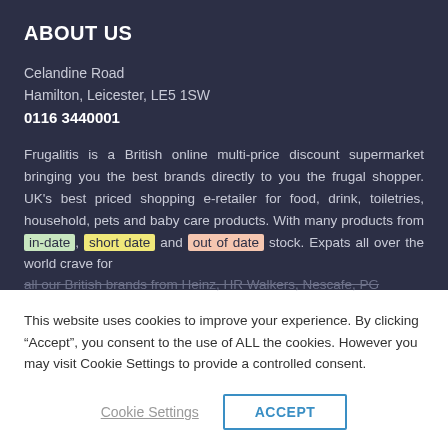ABOUT US
Celandine Road
Hamilton, Leicester, LE5 1SW
0116 3440001
Frugalitis is a British online multi-price discount supermarket bringing you the best brands directly to you the frugal shopper. UK's best priced shopping e-retailer for food, drink, toiletries, household, pets and baby care products. With many products from in-date, short date and out of date stock. Expats all over the world crave for all our British brands from Heinz, HR Walkers, Nescafe, PG...
This website uses cookies to improve your experience. By clicking “Accept”, you consent to the use of ALL the cookies. However you may visit Cookie Settings to provide a controlled consent.
Cookie Settings
ACCEPT